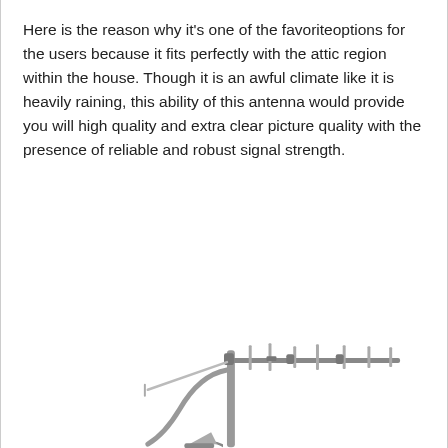Here is the reason why it's one of the favoriteoptions for the users because it fits perfectly with the attic region within the house. Though it is an awful climate like it is heavily raining, this ability of this antenna would provide you will high quality and extra clear picture quality with the presence of reliable and robust signal strength.
[Figure (photo): A rooftop TV antenna mounted on a pole/mast with a wide horizontal boom and multiple elements extending to the right, shown in gray metallic finish against a white background.]